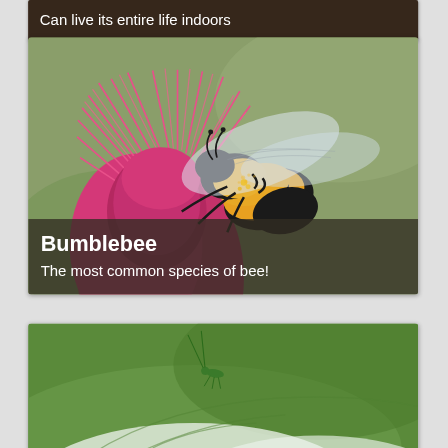Can live its entire life indoors
[Figure (photo): Close-up photo of a bumblebee on a pink thistle flower against a green background]
Bumblebee
The most common species of bee!
[Figure (photo): Partial photo of an insect on green leaves, bottom of page]